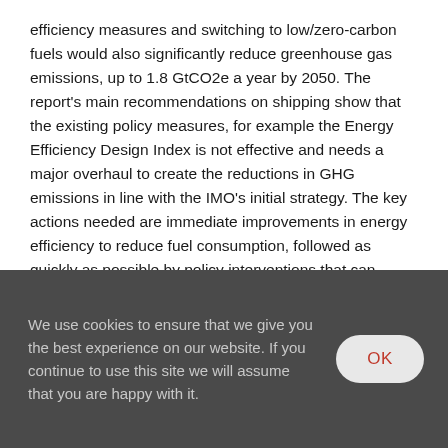efficiency measures and switching to low/zero-carbon fuels would also significantly reduce greenhouse gas emissions, up to 1.8 GtCO2e a year by 2050. The report's main recommendations on shipping show that the existing policy measures, for example the Energy Efficiency Design Index is not effective and needs a major overhaul to create the reductions in GHG emissions in line with the IMO's initial strategy. The key actions needed are immediate improvements in energy efficiency to reduce fuel consumption, followed as quickly as possible by policy interventions that can incentivise shipping to transition away from fossil fuels, and private
We use cookies to ensure that we give you the best experience on our website. If you continue to use this site we will assume that you are happy with it.